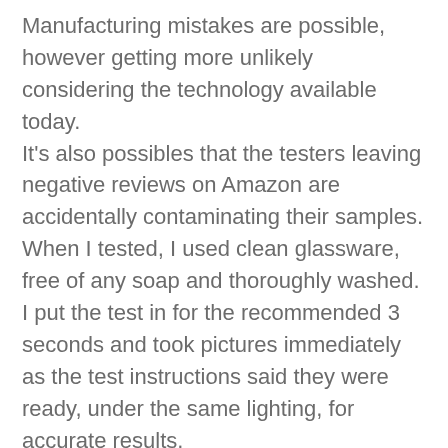Manufacturing mistakes are possible, however getting more unlikely considering the technology available today. It's also possibles that the testers leaving negative reviews on Amazon are accidentally contaminating their samples. When I tested, I used clean glassware, free of any soap and thoroughly washed. I put the test in for the recommended 3 seconds and took pictures immediately as the test instructions said they were ready, under the same lighting, for accurate results.
I am happy to confirm that, according to UriTest 10 Parameter Strips and my doctor, I have very